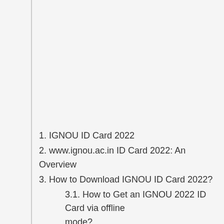1. IGNOU ID Card 2022
2. www.ignou.ac.in ID Card 2022: An Overview
3. How to Download IGNOU ID Card 2022?
3.1. How to Get an IGNOU 2022 ID Card via offline mode?
4. Importance of IGNOU ID card
4.1. What if the IGNOU Identity Card is lost?
4.2. IGNOU ID card 2022: Important Links